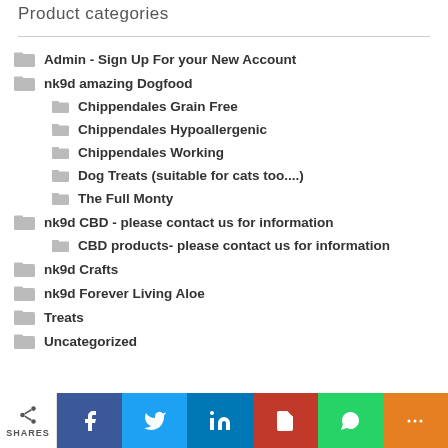Product categories
Admin - Sign Up For your New Account
nk9d amazing Dogfood
Chippendales Grain Free
Chippendales Hypoallergenic
Chippendales Working
Dog Treats (suitable for cats too....)
The Full Monty
nk9d CBD - please contact us for information
CBD products- please contact us for information
nk9d Crafts
nk9d Forever Living Aloe
Treats
Uncategorized
SHARES | Facebook | Twitter | LinkedIn | PDF | WhatsApp | More